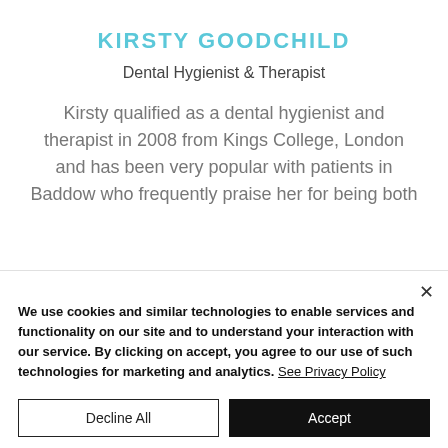KIRSTY GOODCHILD
Dental Hygienist & Therapist
Kirsty qualified as a dental hygienist and therapist in 2008 from Kings College, London and has been very popular with patients in Baddow who frequently praise her for being both
We use cookies and similar technologies to enable services and functionality on our site and to understand your interaction with our service. By clicking on accept, you agree to our use of such technologies for marketing and analytics. See Privacy Policy
Decline All
Accept
Cookie Settings